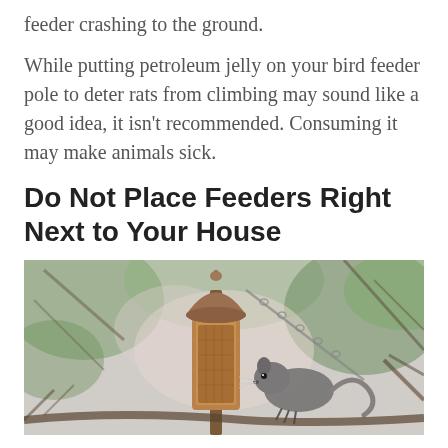feeder crashing to the ground.
While putting petroleum jelly on your bird feeder pole to deter rats from climbing may sound like a good idea, it isn't recommended. Consuming it may make animals sick.
Do Not Place Feeders Right Next to Your House
[Figure (photo): A squirrel or rat perched on a copper/bronze bird feeder hanging outdoors, with blurred green foliage in the background.]